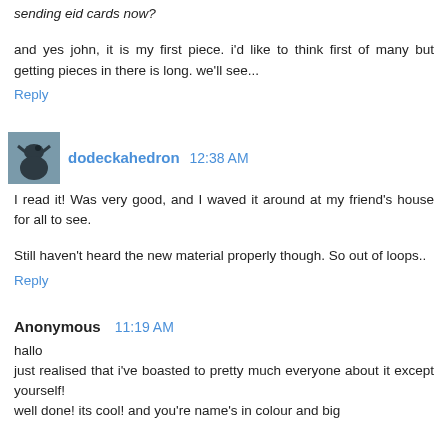sending eid cards now?
and yes john, it is my first piece. i'd like to think first of many but getting pieces in there is long. we'll see...
Reply
dodeckahedron 12:38 AM
I read it! Was very good, and I waved it around at my friend's house for all to see.
Still haven't heard the new material properly though. So out of loops..
Reply
Anonymous 11:19 AM
hallo
just realised that i've boasted to pretty much everyone about it except yourself!
well done! its cool! and you're name's in colour and big